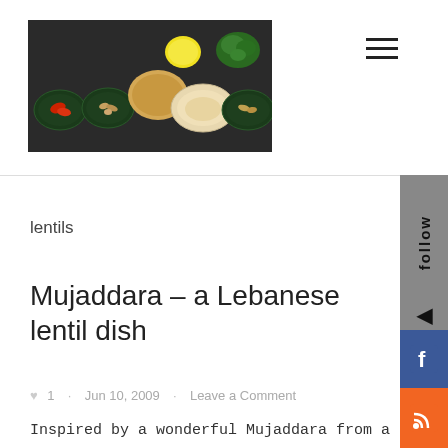[Figure (photo): Food photo showing various dishes with lentils, hummus, and garnishes arranged on a dark surface with lemon and herbs]
lentils
Mujaddara – a Lebanese lentil dish
♥ 1 · Jun 10, 2009 · Leave a Comment
Inspired by a wonderful Mujaddara from a Lebanese restaurant in Troy, New York, we set out